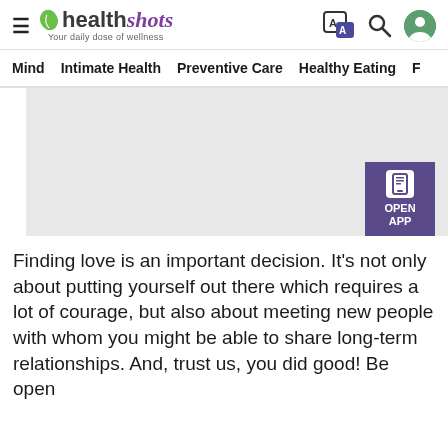health shots — Your daily dose of wellness
Mind  Intimate Health  Preventive Care  Healthy Eating  F
[Figure (photo): Large article hero image placeholder (light grey box) with 'OPEN APP' button overlay in purple at bottom right]
Finding love is an important decision. It's not only about putting yourself out there which requires a lot of courage, but also about meeting new people with whom you might be able to share long-term relationships. And, trust us, you did good! Be open